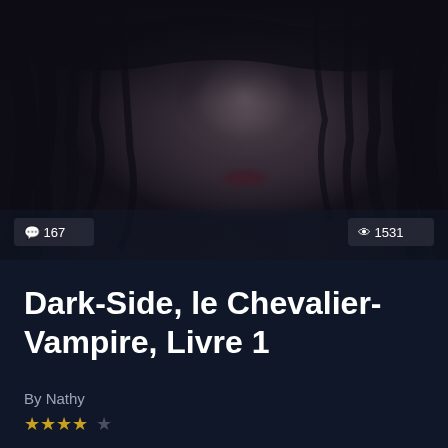[Figure (photo): Dark atmospheric close-up of a figure with dark flowing hair covering most of their face, moody blurred background with dark tones. Comment badge showing 167 and view badge showing 1531 overlaid at the bottom corners.]
Dark-Side, le Chevalier-Vampire, Livre 1
By Nathy